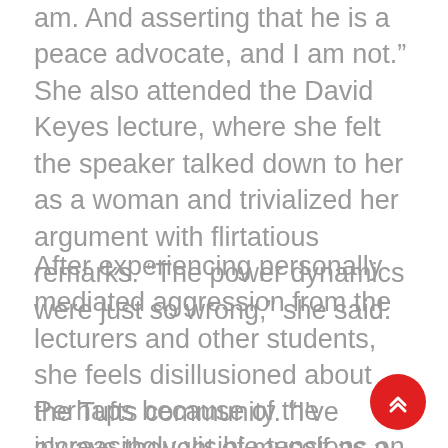am. And asserting that he is a peace advocate, and I am not.” She also attended the David Keyes lecture, where she felt the speaker talked down to her as a woman and trivialized her argument with flirtatious remarks. “The power dynamics were just so wrong,” she said.
After experiencing personally mediated aggression from the lecturers and other students, she feels disillusioned about the Tufts community. “I’ve always thought of myself as a free person on this campus, but I don’t feel that way anymore.”
Perhaps because of the increasingly visible tensions on campus, both club’s events had